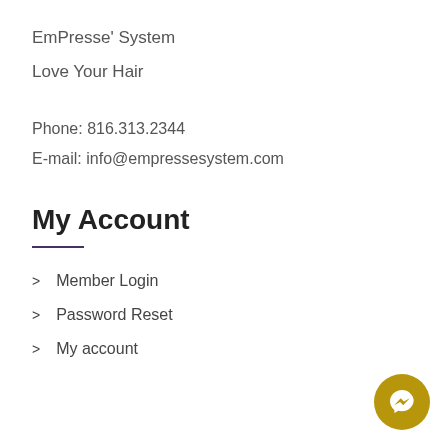EmPresse' System
Love Your Hair
Phone: 816.313.2344
E-mail: info@empressesystem.com
My Account
Member Login
Password Reset
My account
[Figure (illustration): Facebook Messenger chat button, gold/olive circle with white lightning bolt messenger icon]